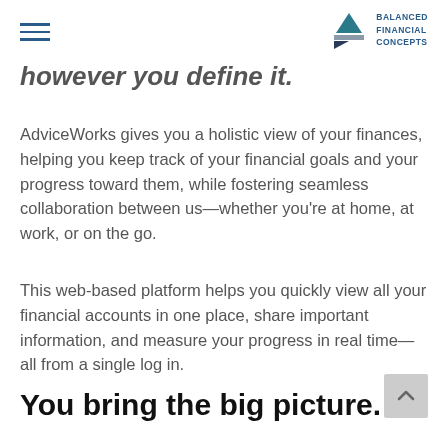Balanced Financial Concepts
however you define it.
AdviceWorks gives you a holistic view of your finances, helping you keep track of your financial goals and your progress toward them, while fostering seamless collaboration between us—whether you're at home, at work, or on the go.
This web-based platform helps you quickly view all your financial accounts in one place, share important information, and measure your progress in real time— all from a single log in.
You bring the big picture.